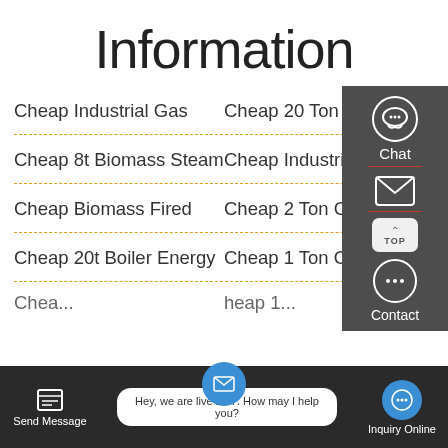Information
Cheap Industrial Gas
Cheap 20 Ton Coal Boiler
Cheap 8t Biomass Steam
Cheap Industrial 4t
Cheap Biomass Fired
Cheap 2 Ton Coal Ste...
Cheap 20t Boiler Energy
Cheap 1 Ton Oil Boi...
[Figure (screenshot): Sidebar widget with Chat, Email, TOP, and Contact icons on dark background]
[Figure (screenshot): Bottom bar with Send Message, live chat bubble 'Hey, we are live 24/7. How may I help you?', and Inquiry Online button]